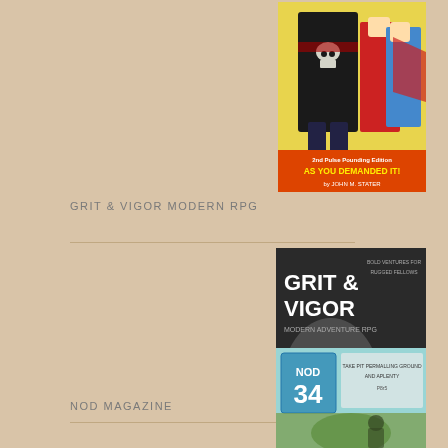[Figure (illustration): Comic book cover showing superheroes - a villain in black with skull logo, a man in red costume, and a woman in red cape. Text reads '2nd Pulse Pounding Edition AS YOU DEMANDED IT! by John M. Stater']
GRIT & VIGOR MODERN RPG
[Figure (illustration): Book cover for Grit & Vigor Modern Adventure RPG showing muscular arms/hands in black and white. Text reads 'GRIT & VIGOR BOLD VENTURES FOR RUGGED FELLOWS MODERN ADVENTURE RPG BY JOHN H. STATER']
NOD MAGAZINE
[Figure (illustration): NOD Magazine issue 34 cover showing fantasy/adventure art with number 34 prominently displayed]